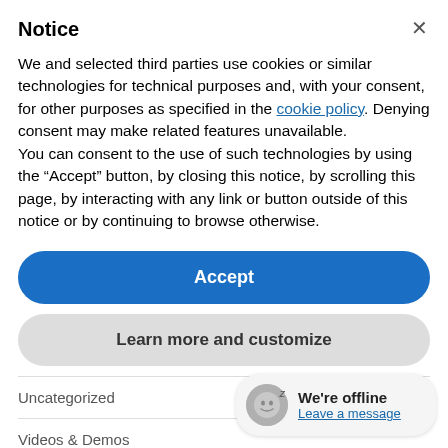Notice
We and selected third parties use cookies or similar technologies for technical purposes and, with your consent, for other purposes as specified in the cookie policy. Denying consent may make related features unavailable.
You can consent to the use of such technologies by using the “Accept” button, by closing this notice, by scrolling this page, by interacting with any link or button outside of this notice or by continuing to browse otherwise.
Accept
Learn more and customize
Uncategorized
Videos & Demos
We're offline
Leave a message